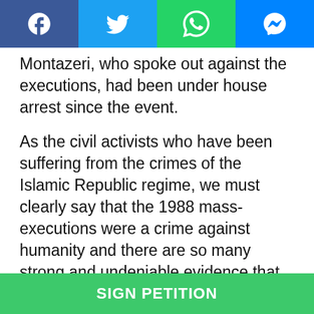[Figure (screenshot): Social media share bar with Facebook, Twitter, WhatsApp, and Messenger buttons]
Montazeri, who spoke out against the executions, had been under house arrest since the event.
As the civil activists who have been suffering from the crimes of the Islamic Republic regime, we must clearly say that the 1988 mass-executions were a crime against humanity and there are so many strong and undeniable evidence that prove the following: first, the Iranian regime committed such crime systematically and in a highly organized manner; second, the main objective of the mass-executions was the exclusion and oppression of those political forces who were
[Figure (screenshot): Green SIGN PETITION button at the bottom of the page]